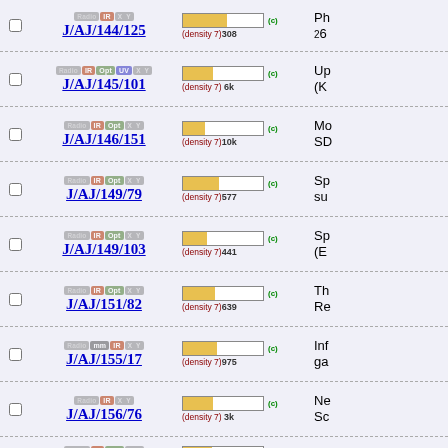J/AJ/144/125 (density 7) 308 Ph
J/AJ/145/101 (density 7) 6k Up (K
J/AJ/146/151 (density 7) 10k Mo SD
J/AJ/149/79 (density 7) 577 Sp su
J/AJ/149/103 (density 7) 441 Sp (E
J/AJ/151/82 (density 7) 639 Th Re
J/AJ/155/17 (density 7) 975 Inf ga
J/AJ/156/76 (density 7) 3k Ne Sc
J/AJ/157/22 (density 7) 844 Lu